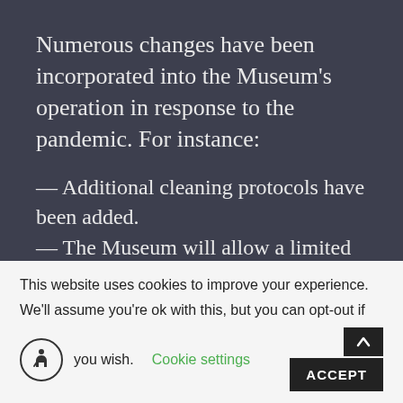Numerous changes have been incorporated into the Museum's operation in response to the pandemic. For instance:
— Additional cleaning protocols have been added.
— The Museum will allow a limited number of patrons into the Theatre
This website uses cookies to improve your experience.
We'll assume you're ok with this, but you can opt-out if you wish.
Cookie settings
ACCEPT